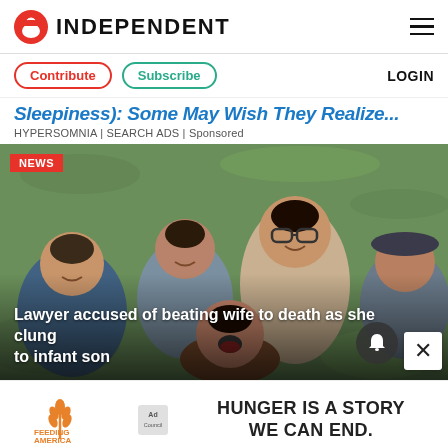INDEPENDENT
Contribute  Subscribe  LOGIN
Sleepiness): Some May Wish They Realize...
HYPERSOMNIA | SEARCH ADS | Sponsored
[Figure (photo): Group photo of a smiling woman with glasses surrounded by several laughing children outdoors on grass. NEWS badge in top left corner. Overlay text: 'Lawyer accused of beating wife to death as she clung to infant son']
[Figure (logo): Feeding America Ad Council logo on bottom advertisement banner]
HUNGER IS A STORY WE CAN END.